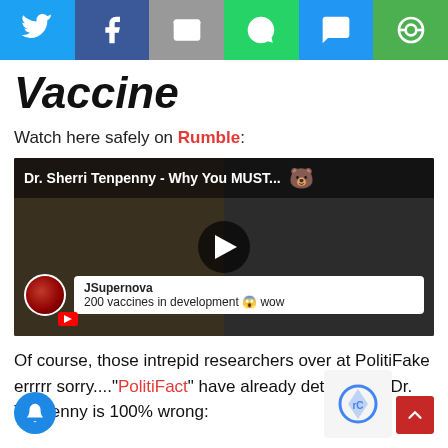[Figure (screenshot): Social media share bar with icons for Twitter (blue), Facebook (dark blue), Email (gray), WhatsApp (green), SMS (blue), and Copy/share (green)]
Vaccine
Watch here safely on Rumble:
[Figure (screenshot): Embedded video thumbnail showing two women in a video call layout. Title reads: Dr. Sherri Tenpenny - Why You MUST... A comment from JSupernova reads: 200 vaccines in development wow. YouTube icon visible at bottom left of avatar. Play button in center.]
Of course, those intrepid researchers over at PolitiFake errrrr sorry...."PolitiFact" have already determined Dr. Tenpenny is 100% wrong: